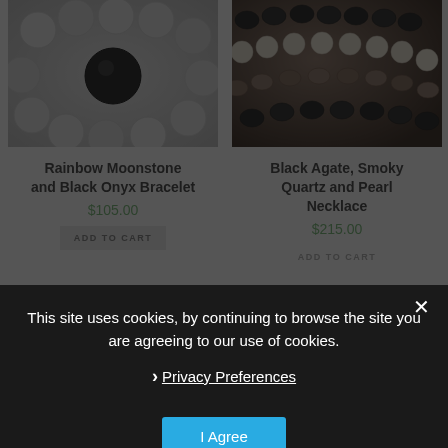[Figure (photo): Close-up photo of Rainbow Moonstone and Black Onyx Bracelet - white/frosted beads with a large black onyx bead on a light gray background]
[Figure (photo): Close-up photo of Black Agate, Smoky Quartz and Pearl Necklace - multiple strands of black oval beads, smoky brown beads, and cream/white pearl beads]
Rainbow Moonstone and Black Onyx Bracelet
$105.00
Black Agate, Smoky Quartz and Pearl Necklace
$215.00
ADD TO CART
ADD TO CART
This site uses cookies, by continuing to browse the site you are agreeing to our use of cookies.
Privacy Preferences
I Agree
[Figure (logo): Dark store logo/emblem with decorative swirl pattern on dark background, partially visible at bottom of page]